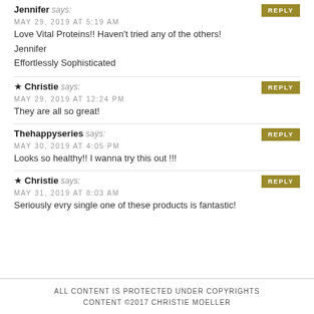Jennifer says: MAY 29, 2019 AT 5:19 AM
Love Vital Proteins!! Haven't tried any of the others!

Jennifer
Effortlessly Sophisticated
★ Christie says: MAY 29, 2019 AT 12:24 PM
They are all so great!
Thehappyseries says: MAY 30, 2019 AT 4:05 PM
Looks so healthy!! I wanna try this out !!!
★ Christie says: MAY 31, 2019 AT 8:03 AM
Seriously evry single one of these products is fantastic!
ALL CONTENT IS PROTECTED UNDER COPYRIGHTS CONTENT ©2017 CHRISTIE MOELLER